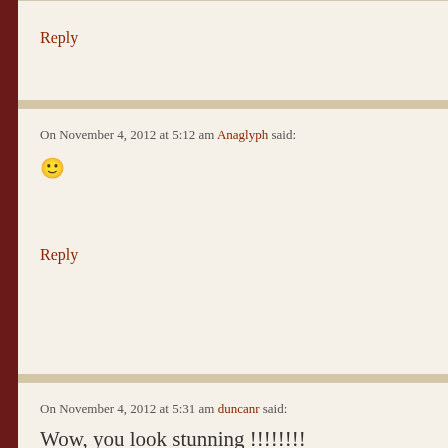Reply
On November 4, 2012 at 5:12 am Anaglyph said:
😊
Reply
On November 4, 2012 at 5:31 am duncanr said:
Wow, you look stunning !!!!!!!!
Good to see you back 😄
Reply
On November 4, 2012 at 11:20 am Nota bene said:
Scorchio!
Reply